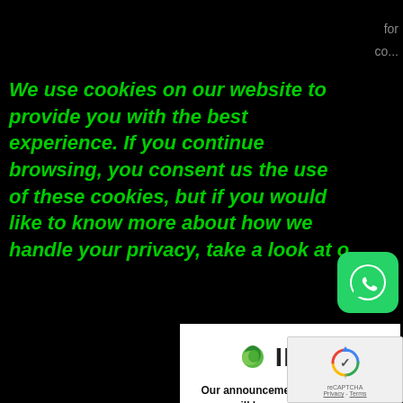We use cookies on our website to provide you with the best experience. If you continue browsing, you consent us the use of these cookies, but if you would like to know more about how we handle your privacy, take a look at o...
[Figure (logo): IMTC logo with green circular leaf icon and bold IMTC text]
Our announcements & newsletters will keep you updated!
Name
Last Name
Email
I agree and accept the terms of the Privacy Policy
[Figure (logo): WhatsApp green icon with white phone/chat symbol]
[Figure (logo): Google reCAPTCHA badge with logo and Privacy - Terms links]